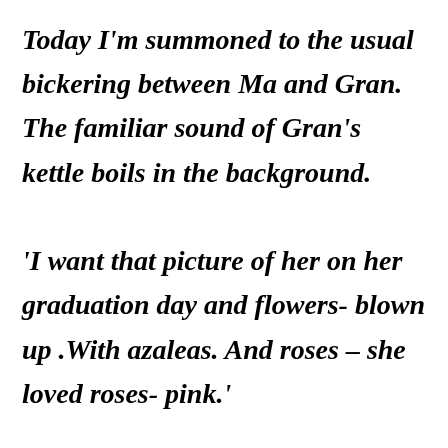Today I'm summoned to the usual bickering between Ma and Gran. The familiar sound of Gran's kettle boils in the background.

'I want that picture of her on her graduation day and flowers- blown up .With azaleas. And roses – she loved roses- pink.'

'She hates that picture! And she loves-